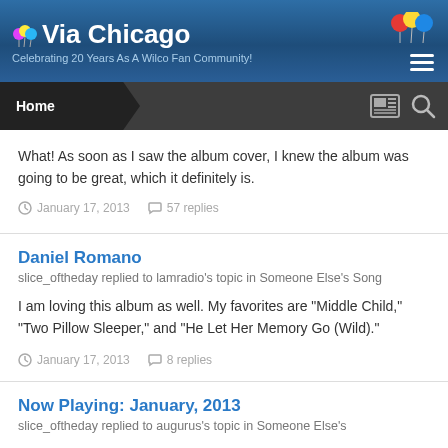Via Chicago — Celebrating 20 Years As A Wilco Fan Community!
What! As soon as I saw the album cover, I knew the album was going to be great, which it definitely is.
January 17, 2013   57 replies
Daniel Romano
slice_oftheday replied to lamradio's topic in Someone Else's Song
I am loving this album as well. My favorites are "Middle Child," "Two Pillow Sleeper," and "He Let Her Memory Go (Wild)."
January 17, 2013   8 replies
Now Playing: January, 2013
slice_oftheday replied to augurus's topic in Someone Else's